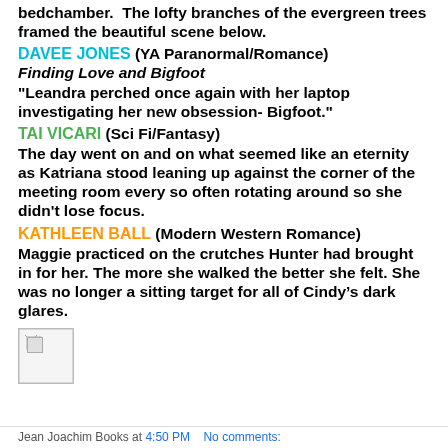bedchamber.  The lofty branches of the evergreen trees framed the beautiful scene below.
DAVEE JONES (YA Paranormal/Romance)
Finding Love and Bigfoot
"Leandra perched once again with her laptop investigating her new obsession- Bigfoot."
TAI VICARI (Sci Fi/Fantasy)
The day went on and on what seemed like an eternity as Katriana stood leaning up against the corner of the meeting room every so often rotating around so she didn't lose focus.
KATHLEEN BALL (Modern Western Romance)
Maggie practiced on the crutches Hunter had brought in for her. The more she walked the better she felt. She was no longer a sitting target for all of Cindy's dark glares.
[Figure (other): Small broken image placeholder thumbnail]
Jean Joachim Books at 4:50 PM    No comments: